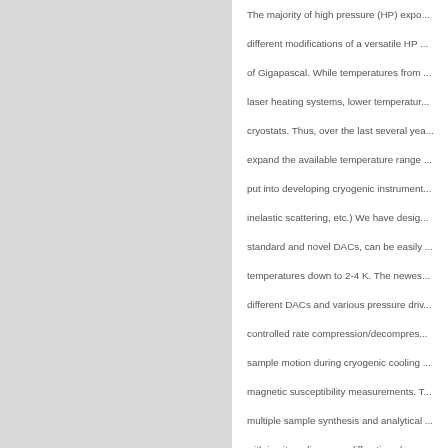The majority of high pressure (HP) experiments are carried out using different modifications of a versatile HP cell – the Diamond Anvil Cell (DAC) – capable of Gigapascal. While temperatures from 300 K to 6000 K can be reached using laser heating systems, lower temperatures are achieved using flow or closed-cycle cryostats. Thus, over the last several years considerable effort has been put to expand the available temperature range down to liquid helium temperatures and effort was put into developing cryogenic instruments for x-ray diffraction, x-ray inelastic scattering, etc.) We have designed a cryostat system, adaptable to standard and novel DACs, can be easily mounted around the DAC to provide temperatures down to 2-4 K. The newest generation of our cryostats accepts different DACs and various pressure driving mechanisms and allows us to do controlled rate compression/decompression. Special care has been taken to avoid sample motion during cryogenic cooling and it is also optimized for high-field magnetic susceptibility measurements. The system has been also optimized for multiple sample synthesis and analytical measurements. We are developing DAC with in-situ online x-ray diffraction characterization during simultaneous cooling of the sample to cryogenic temperatures. A significant effort was put into development of high pressure multi-anvil press type cell single and double stage heaters and